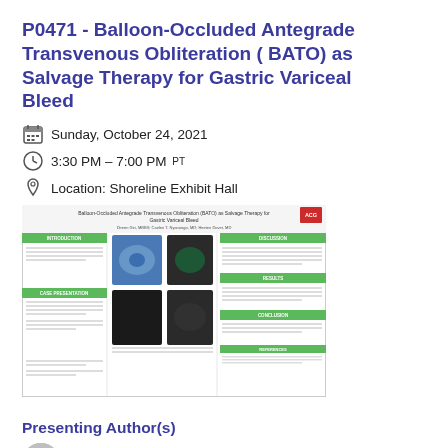P0471 - Balloon-Occluded Antegrade Transvenous Obliteration ( BATO) as Salvage Therapy for Gastric Variceal Bleed
Sunday, October 24, 2021
3:30 PM – 7:00 PM PT
Location: Shoreline Exhibit Hall
[Figure (other): Thumbnail image of a medical conference poster titled 'Balloon-Occluded Antegrade Transvenous Obliteration (BATO) as Salvage Therapy for Gastric Variceal Bleed' showing medical images and text columns.]
Presenting Author(s)
Doreen Giri, MBBS